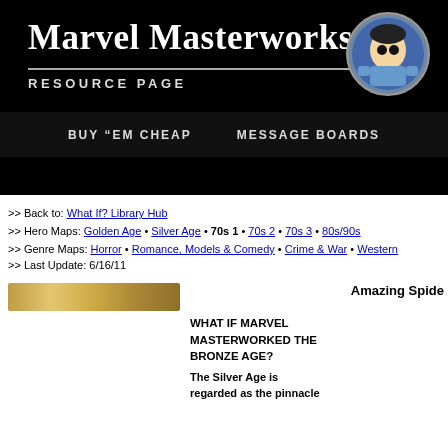Marvel Masterworks RESOURCE PAGE
[Figure (illustration): Circular logo with a cartoon character illustration on black background]
BUY "EM CHEAP   MESSAGE BOARDS
>> Back to: What If? Library Hub
>> Hero Maps: Golden Age • Silver Age • 70s 1 • 70s 2 • 70s 3 • 80s/90s
>> Genre Maps: Horror • Romance, Models & Comedy • Crime & War • Western
>> Last Update: 6/16/11
[Figure (illustration): Partial book cover image with golden/yellow coloring]
Amazing Spide
WHAT IF MARVEL MASTERWORKED THE BRONZE AGE?
The Silver Age is regarded as the pinnacle